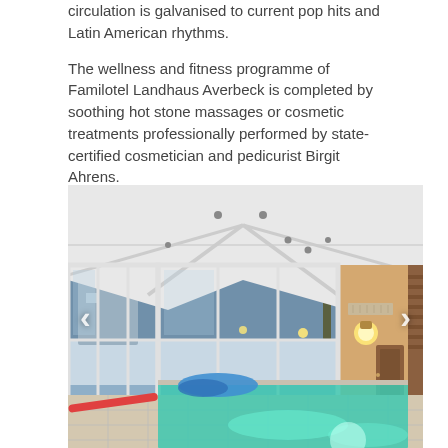circulation is galvanised to current pop hits and Latin American rhythms.
The wellness and fitness programme of Familotel Landhaus Averbeck is completed by soothing hot stone massages or cosmetic treatments professionally performed by state-certified cosmetician and pedicurist Birgit Ahrens.
[Figure (photo): Interior photo of an indoor swimming pool with a vaulted white ceiling, large floor-to-ceiling glass windows and doors showing a snowy outdoor scene at dusk, warm wall lighting, and turquoise pool water in the foreground. Navigation arrows (< and >) are visible on the left and right sides of the image.]